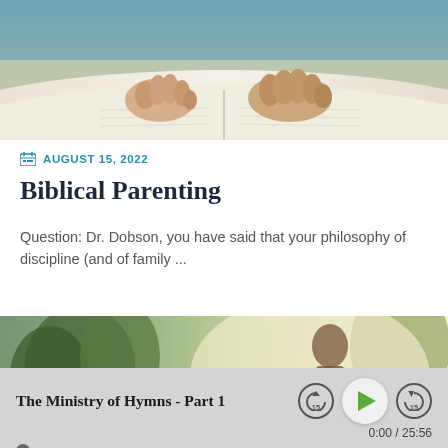[Figure (photo): Close-up photo of hands (adult and child) touching an open book/Bible]
AUGUST 15, 2022
Biblical Parenting
Question: Dr. Dobson, you have said that your philosophy of discipline (and of family ...
[Figure (photo): Outdoor photo with trees and warm sunlight, partially overlaid by a Collapse button]
The Ministry of Hymns - Part 1
0:00 / 25:56